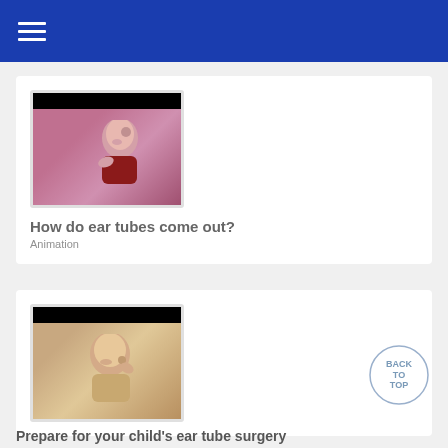≡
[Figure (photo): Video thumbnail showing a young child with hand near mouth, looking upward, pink background]
How do ear tubes come out?
Animation
[Figure (photo): Video thumbnail showing a young child touching their ear, warm beige background]
Prepare for your child's ear tube surgery
[Figure (other): Back to top circular button]